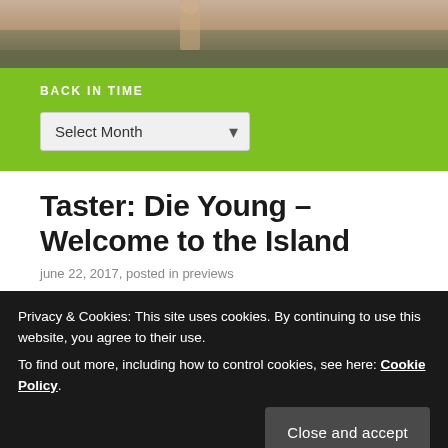[Figure (photo): Outdoor nature photo banner showing a dirt path and vegetation in muted earthy tones]
BACK IN TIME
Select Month (dropdown)
Taster: Die Young – Welcome to the Island
june 22, 2017, posted in previews
Privacy & Cookies: This site uses cookies. By continuing to use this website, you agree to their use.
To find out more, including how to control cookies, see here: Cookie Policy
Close and accept
friends for what she thinks will be a new thrill and a